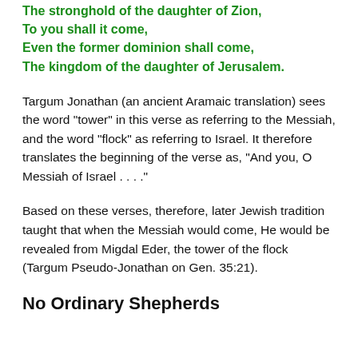The stronghold of the daughter of Zion,
To you shall it come,
Even the former dominion shall come,
The kingdom of the daughter of Jerusalem.
Targum Jonathan (an ancient Aramaic translation) sees the word “tower” in this verse as referring to the Messiah, and the word “flock” as referring to Israel. It therefore translates the beginning of the verse as, “And you, O Messiah of Israel . . . .”
Based on these verses, therefore, later Jewish tradition taught that when the Messiah would come, He would be revealed from Migdal Eder, the tower of the flock (Targum Pseudo-Jonathan on Gen. 35:21).
No Ordinary Shepherds